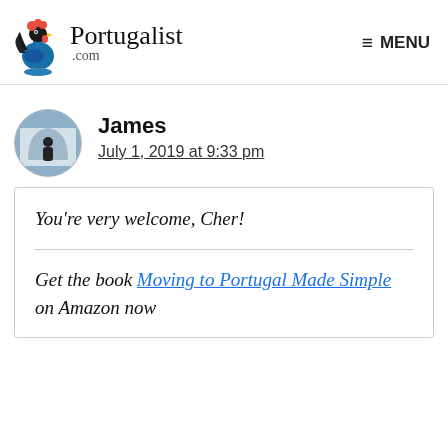Portugalist .com | MENU
James
July 1, 2019 at 9:33 pm
You're very welcome, Cher!
Get the book Moving to Portugal Made Simple on Amazon now